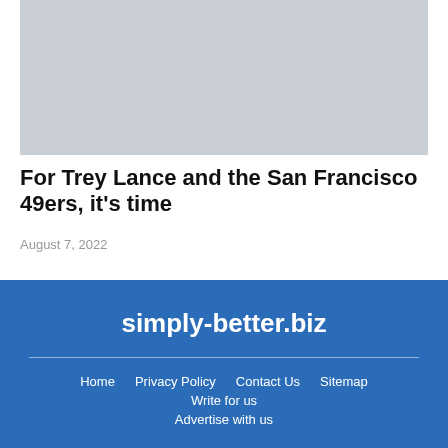[Figure (photo): Article thumbnail image placeholder (light gray rectangle)]
For Trey Lance and the San Francisco 49ers, it's time
August 7, 2022
simply-better.biz
Home  Privacy Policy  Contact Us  Sitemap  Write for us  Advertise with us